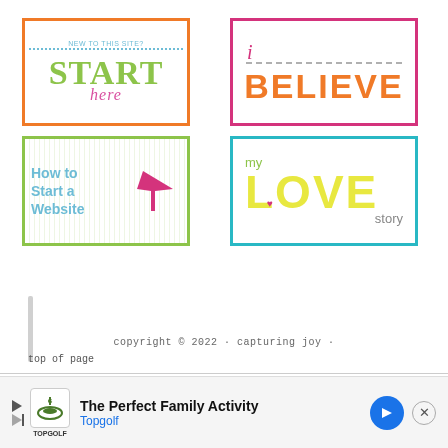[Figure (illustration): Orange-bordered box with 'NEW TO THIS SITE?' text and large green stylized 'START' text and pink cursive 'here' below]
[Figure (illustration): Pink-bordered box with italic 'i' and large orange 'BELIEVE' text with gray temple silhouettes]
[Figure (illustration): Green dotted-bordered box with teal 'How to Start a Website' text and pink cursor arrow]
[Figure (illustration): Teal-bordered box with green 'my', large yellow 'LOVE' text with pink heart, and gray 'story']
copyright © 2022 · capturing joy ·
top of page
[Figure (infographic): Advertisement banner: The Perfect Family Activity - Topgolf]